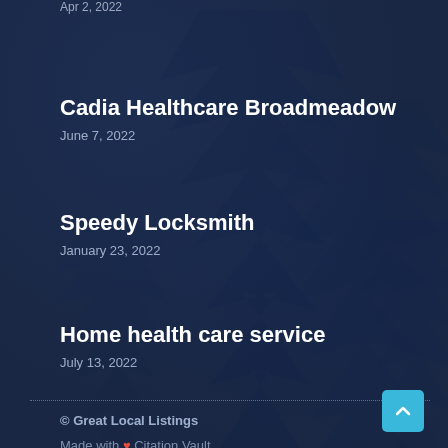Apr 2, 2022
Cadia Healthcare Broadmeadow
June 7, 2022
Speedy Locksmith
January 23, 2022
Home health care service
July 13, 2022
© Great Local Listings
Made with ❤ Citation Vault